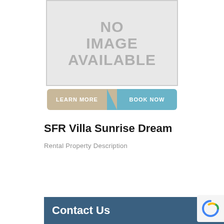[Figure (illustration): No image available placeholder — grey box with text 'NO IMAGE AVAILABLE']
LEARN MORE   BOOK NOW
SFR Villa Sunrise Dream
Rental Property Description
Contact Us